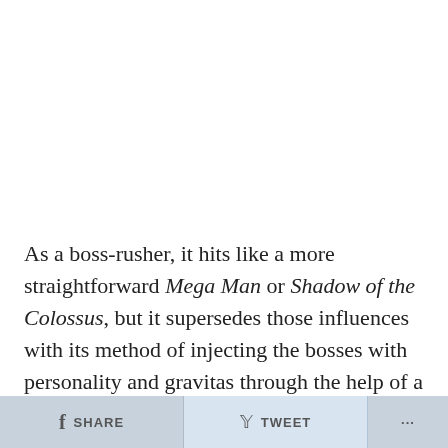As a boss-rusher, it hits like a more straightforward Mega Man or Shadow of the Colossus, but it supersedes those influences with its method of injecting the bosses with personality and gravitas through the help of a constant narrator, much like how Metal Gear Solid would accomplish this same feat leading up to its own fateful encounters.
SHARE   TWEET   ...